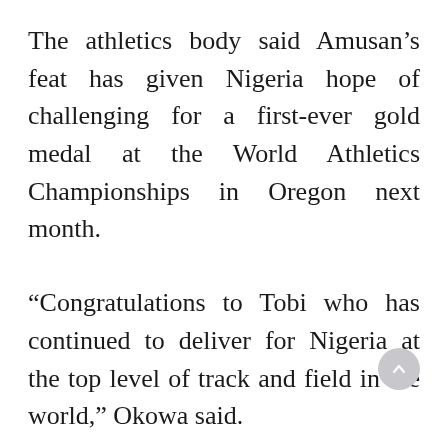The athletics body said Amusan's feat has given Nigeria hope of challenging for a first-ever gold medal at the World Athletics Championships in Oregon next month.
“Congratulations to Tobi who has continued to deliver for Nigeria at the top level of track and field in the world,” Okowa said.
“The reigning Commonwealth Games